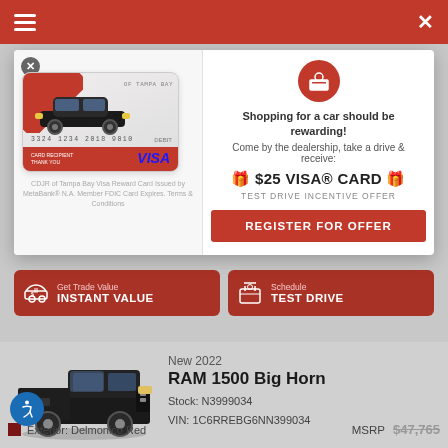Navigation bar with hamburger menu and close button
[Figure (screenshot): Modal promotion: CDJR of Tampa Bay Visa Reward Card image on left. Right side shows reward icon, text 'Shopping for a car should be rewarding! Come by the dealership, take a drive & receive: $25 VISA® CARD - TEST DRIVE INCENTIVE OFFER', and a red REGISTER FOR OFFER button.]
CDJR of Tampa Bay Visa Reward Card Issued by MetaBank® N.A. Member FDIC Card Expires. Terms & Conditions
Shopping for a car should be rewarding! Come by the dealership, take a drive & receive:
🎁 $25 VISA® CARD 🎁
TEST DRIVE INCENTIVE OFFER
REGISTER FOR OFFER
Get Trade Value INSTANT VALUE
Schedule TEST DRIVE
New 2022
RAM 1500 Big Horn
Stock: N3999034
VIN: 1C6RREBG6NN399034
❷Details
Exterior: Delmonico Red
MSRP
$47,765